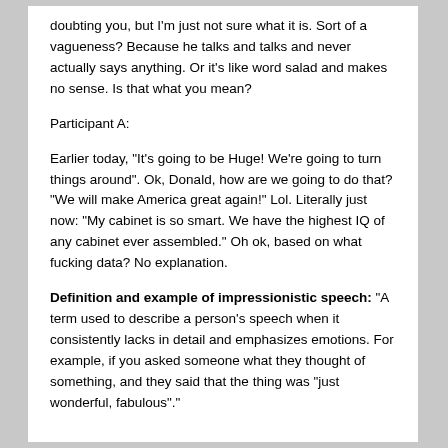doubting you, but I'm just not sure what it is. Sort of a vagueness? Because he talks and talks and never actually says anything. Or it's like word salad and makes no sense. Is that what you mean?
Participant A:
Earlier today, "It's going to be Huge! We're going to turn things around". Ok, Donald, how are we going to do that? "We will make America great again!" Lol. Literally just now: "My cabinet is so smart. We have the highest IQ of any cabinet ever assembled." Oh ok, based on what fucking data? No explanation.
Definition and example of impressionistic speech: "A term used to describe a person's speech when it consistently lacks in detail and emphasizes emotions. For example, if you asked someone what they thought of something, and they said that the thing was "just wonderful, fabulous"."
...